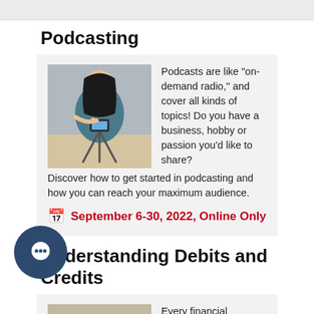Podcasting
[Figure (photo): Woman recording a podcast or video with a smartphone on a tripod]
Podcasts are like "on-demand radio," and cover all kinds of topics! Do you have a business, hobby or passion you'd like to share? Discover how to get started in podcasting and how you can reach your maximum audience.
September 6-30, 2022, Online Only
Understanding Debits and Credits
[Figure (photo): Person working with financial documents, calculator and coffee on desk]
Every financial transaction falls into one